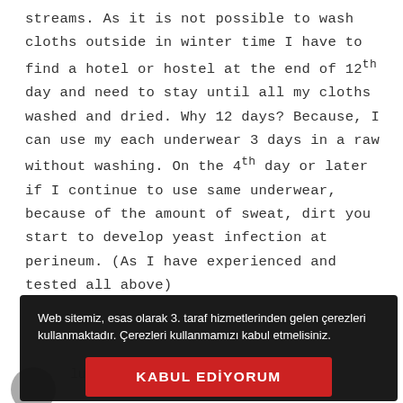streams. As it is not possible to wash cloths outside in winter time I have to find a hotel or hostel at the end of 12th day and need to stay until all my cloths washed and dried. Why 12 days? Because, I can use my each underwear 3 days in a raw without washing. On the 4th day or later if I continue to use same underwear, because of the amount of sweat, dirt you start to develop yeast infection at perineum. (As I have experienced and tested all above)
[Figure (screenshot): Cookie consent overlay on dark background with Turkish text: 'Web sitemiz, esas olarak 3. taraf hizmetlerinden gelen çerezleri kullanmaktadır. Çerezleri kullanmamızı kabul etmelisiniz.' and a red button labeled 'KABUL EDİYORUM'. Behind the overlay, a section header reading '18) WHAT ABOUT YOUR TOILET NEEDS?' is partially visible, along with partial body text at the bottom.]